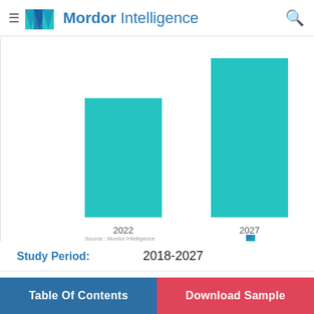Mordor Intelligence
[Figure (bar-chart): Market Size 2022 vs 2027]
Study Period: 2018-2027
Base Year: 2021
Table Of Contents | Download Sample